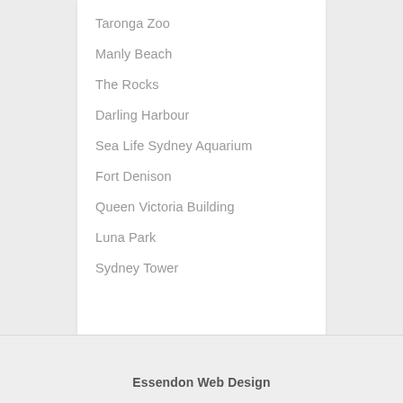Taronga Zoo
Manly Beach
The Rocks
Darling Harbour
Sea Life Sydney Aquarium
Fort Denison
Queen Victoria Building
Luna Park
Sydney Tower
Essendon Web Design